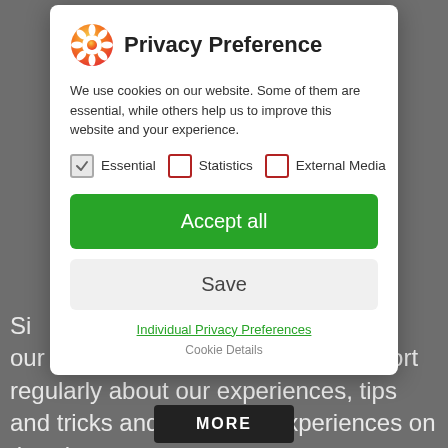[Figure (screenshot): Privacy preference modal dialog overlay on a gray background website]
Privacy Preference
We use cookies on our website. Some of them are essential, while others help us to improve this website and your experience.
Essential (checked)
Statistics (unchecked)
External Media (unchecked)
Accept all
Save
Individual Privacy Preferences
Cookie Details
our motorcycle rtw trip. Here we report regularly about our experiences, tips and tricks and our many experiences on the trip.